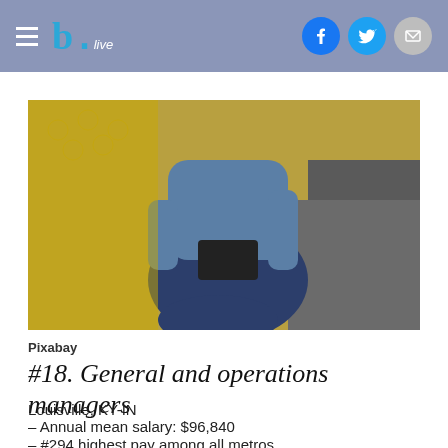b.live
[Figure (photo): Person sitting on a chair with yellow textured background, wearing jeans and denim shirt, holding a book or notebook]
Pixabay
#18. General and operations managers
Louisville, KY-IN
– Annual mean salary: $96,840
– #294 highest pay among all metros